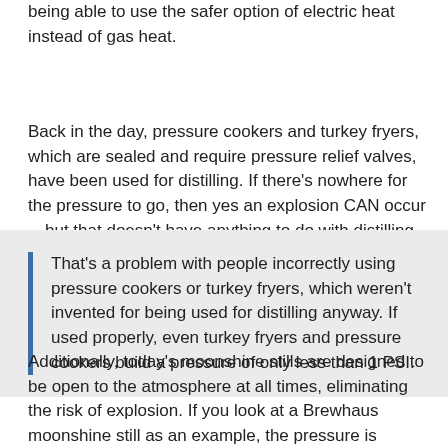being able to use the safer option of electric heat instead of gas heat.
Back in the day, pressure cookers and turkey fryers, which are sealed and require pressure relief valves, have been used for distilling. If there's nowhere for the pressure to go, then yes an explosion CAN occur—but that doesn't have anything to do with distilling itself.
That's a problem with people incorrectly using pressure cookers or turkey fryers, which weren't invented for being used for distilling anyway. If used properly, even turkey fryers and pressure cookers build a pressure of only less than 1 PSI.
Additionally, today's moonshine stills are designed to be open to the atmosphere at all times, eliminating the risk of explosion. If you look at a Brewhaus moonshine still as an example, the pressure is actually relieved out through the condenser.